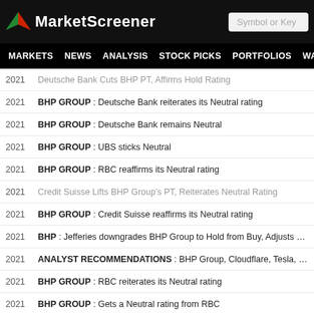[Figure (logo): MarketScreener logo with red/green arrow icon on black header bar]
MARKETS NEWS ANALYSIS STOCK PICKS PORTFOLIOS WATCHLI...
2021  Deutsche Bank Cuts BHP PT, Affirms Hold Rating
2021  BHP GROUP : Deutsche Bank reiterates its Neutral rating
2021  BHP GROUP : Deutsche Bank remains Neutral
2021  BHP GROUP : UBS sticks Neutral
2021  BHP GROUP : RBC reaffirms its Neutral rating
2021  Credit Suisse Lifts BHP Group's PT, Reiterates Neutral Rating
2021  BHP GROUP : Credit Suisse reaffirms its Neutral rating
2021  BHP : Jefferies downgrades BHP Group to Hold from Buy, Adjusts Price T...
2021  ANALYST RECOMMENDATIONS : BHP Group, Cloudflare, Tesla, Micros...
2021  BHP GROUP : RBC reiterates its Neutral rating
2021  BHP GROUP : Gets a Neutral rating from RBC
2021  BHP GROUP : Barclays reiterates its Neutral rating
2021  BHP GROUP : Berenberg reiterates its Neutral rating
2021  BHP GROUP : Gets a Neutral rating from UBS
2021  BHP GROUP : Downgraded to Neutral by RBC